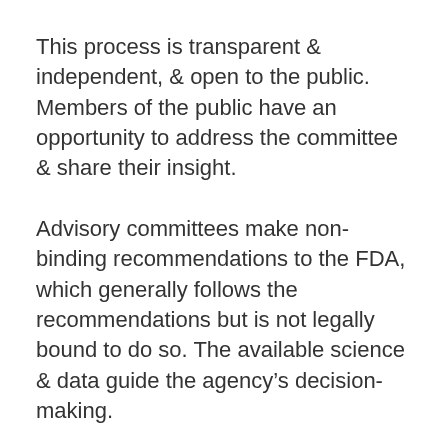This process is transparent & independent, & open to the public. Members of the public have an opportunity to address the committee & share their insight.
Advisory committees make non-binding recommendations to the FDA, which generally follows the recommendations but is not legally bound to do so. The available science & data guide the agency's decision-making.
Under usual circumstances, committee meetings are sometimes webcasted to ensure transparent discussions & to help the public understand the FDA's expectations for the data needed to support the agency's determinations about the safety & effectiveness of a product. During the COVID-19 pandemic, all FDA advisory committee